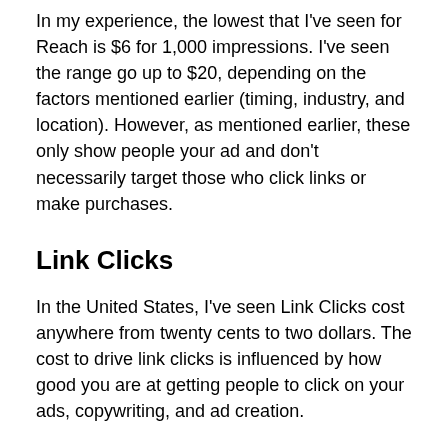In my experience, the lowest that I've seen for Reach is $6 for 1,000 impressions. I've seen the range go up to $20, depending on the factors mentioned earlier (timing, industry, and location). However, as mentioned earlier, these only show people your ad and don't necessarily target those who click links or make purchases.
Link Clicks
In the United States, I've seen Link Clicks cost anywhere from twenty cents to two dollars. The cost to drive link clicks is influenced by how good you are at getting people to click on your ads, copywriting, and ad creation.